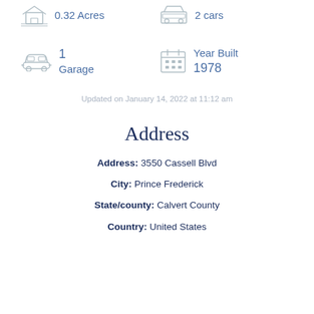0.32 Acres
2 cars
1
Garage
Year Built
1978
Updated on January 14, 2022 at 11:12 am
Address
Address: 3550 Cassell Blvd
City: Prince Frederick
State/county: Calvert County
Country: United States